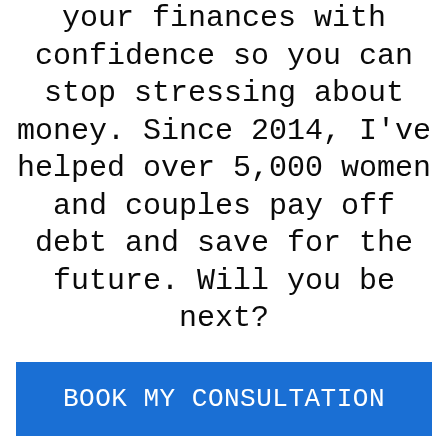your finances with confidence so you can stop stressing about money. Since 2014, I've helped over 5,000 women and couples pay off debt and save for the future. Will you be next?
BOOK MY CONSULTATION